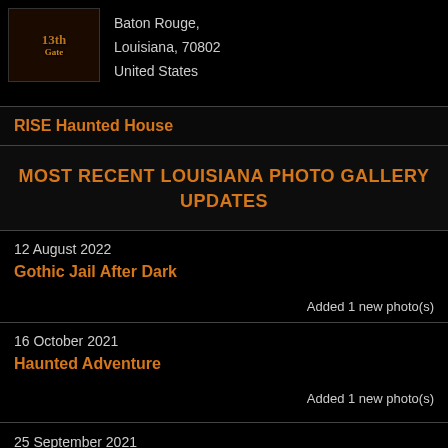[Figure (logo): 13th Gate haunted attraction logo with gothic styling]
Baton Rouge,
Louisiana, 70802
United States
RISE Haunted House
MOST RECENT LOUISIANA PHOTO GALLERY UPDATES
12 August 2022
Gothic Jail After Dark
Added 1 new photo(s)
16 October 2021
Haunted Adventure
Added 1 new photo(s)
25 September 2021